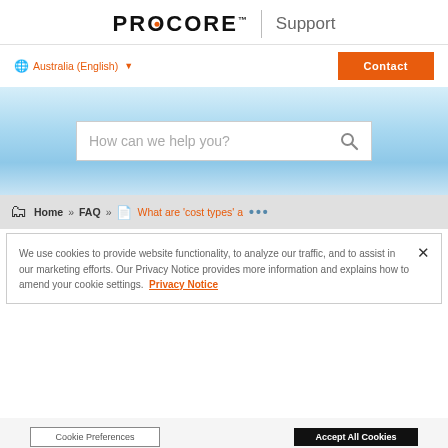[Figure (logo): Procore logo with orange dot in O, followed by vertical divider and 'Support' text]
Australia (English) ▼
Contact
[Figure (screenshot): Blue gradient hero section with search box reading 'How can we help you?' and a search icon]
Home » FAQ » What are 'cost types' a ...
We use cookies to provide website functionality, to analyze our traffic, and to assist in our marketing efforts. Our Privacy Notice provides more information and explains how to amend your cookie settings. Privacy Notice